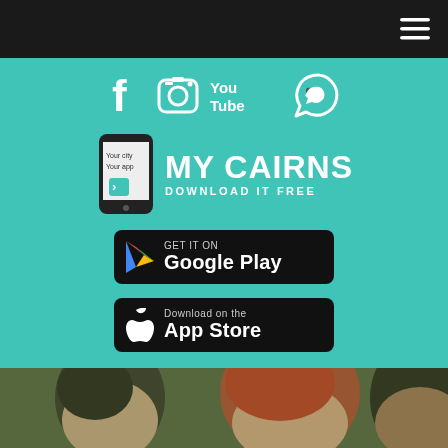[Figure (screenshot): Dark top navigation bar with hamburger menu icon on the right]
[Figure (infographic): Teal/turquoise section with social media icons (Facebook, Instagram, YouTube, WhatsApp), My Cairns app promotional banner, Google Play download button, and App Store download button]
[Figure (photo): Photo of two young people smiling outdoors, partial view at bottom of page]